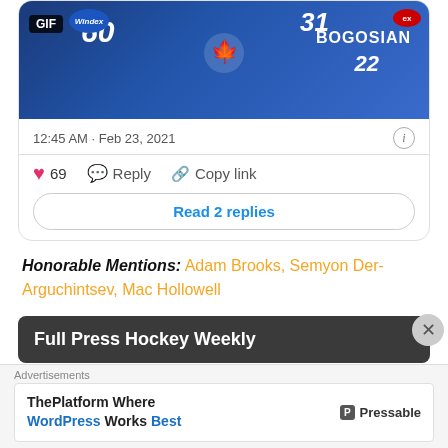[Figure (screenshot): GIF thumbnail of Toronto Maple Leafs hockey players with jersey numbers 60, 31, 22 and name BOGOSIAN. Windex logo and GIF badge visible.]
12:45 AM · Feb 23, 2021
69  Reply  Copy link
Read 2 replies
Honorable Mentions: Adam Brooks, Semyon Der-Arguchintsev, Mac Hollowell
Full Press Hockey Weekly
Full Press NHL Pod
Advertisements
ThePlatform Where WordPress Works Best  Pressable